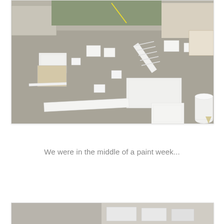[Figure (photo): Outdoor gravel yard with numerous white-painted wooden furniture pieces and box frames scattered on the ground during a painting session. Buildings and equipment visible in background.]
We were in the middle of a paint week...
[Figure (photo): Partially visible bottom photo, appears to show painted furniture items.]